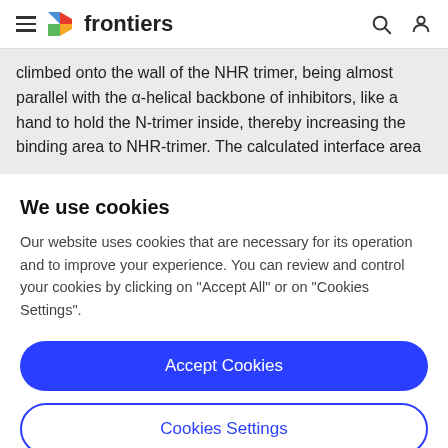frontiers
climbed onto the wall of the NHR trimer, being almost parallel with the α-helical backbone of inhibitors, like a hand to hold the N-trimer inside, thereby increasing the binding area to NHR-trimer. The calculated interface area
We use cookies
Our website uses cookies that are necessary for its operation and to improve your experience. You can review and control your cookies by clicking on "Accept All" or on "Cookies Settings".
Accept Cookies
Cookies Settings